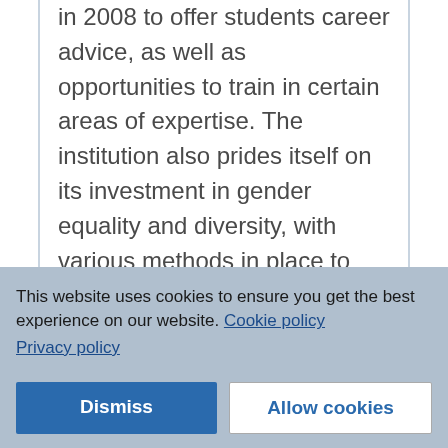in 2008 to offer students career advice, as well as opportunities to train in certain areas of expertise. The institution also prides itself on its investment in gender equality and diversity, with various methods in place to promote equality across the board.
Alumni of the university include a German Federal President, a Federal Chancellor, several European Court judges and four Nobel Prize recipients, the physicist Peter Grünberg among
This website uses cookies to ensure you get the best experience on our website. Cookie policy Privacy policy